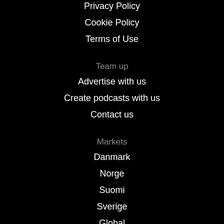Privacy Policy
Cookie Policy
Terms of Use
Team up
Advertise with us
Create podcasts with us
Contact us
Markets
Danmark
Norge
Suomi
Sverige
Global